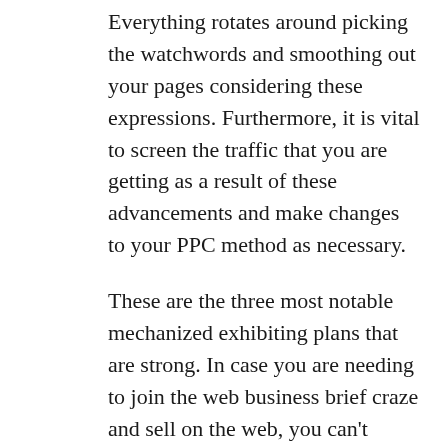Everything rotates around picking the watchwords and smoothing out your pages considering these expressions. Furthermore, it is vital to screen the traffic that you are getting as a result of these advancements and make changes to your PPC method as necessary.
These are the three most notable mechanized exhibiting plans that are strong. In case you are needing to join the web business brief craze and sell on the web, you can't oversee without these. Essentially assurance to enroll the right experts who can fulfill all your high-level publicizing requirements and recommendation results.
Ajal is a really Digital Marketing Company in Dwarka Delhi, India. We have helped our clients with our best organizations and further fostered their clients as the web-based business has expanded.